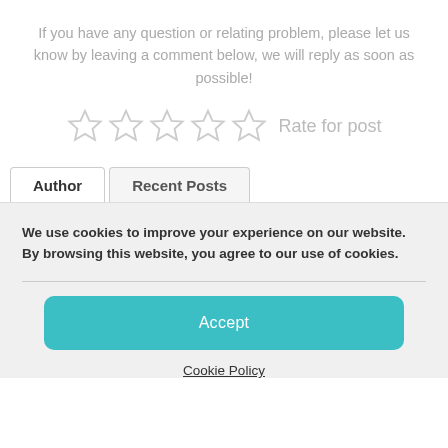If you have any question or relating problem, please let us know by leaving a comment below, we will reply as soon as possible!
[Figure (other): Five empty star rating icons with label 'Rate for post']
Author | Recent Posts (tab navigation)
We use cookies to improve your experience on our website. By browsing this website, you agree to our use of cookies.
Accept
Cookie Policy